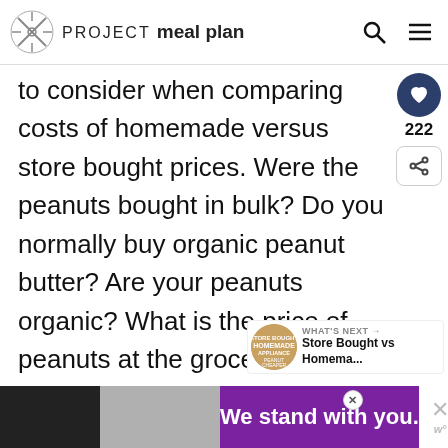PROJECT meal plan
to consider when comparing costs of homemade versus store bought prices. Were the peanuts bought in bulk? Do you normally buy organic peanut butter? Are your peanuts organic? What is the price of peanuts at the grocery store versus buying in bulk? Lots to think about when comparing prices! I'll do my best to explain multiple scenarios when considering how much it costs to make homemade peanut butter.
If y
[Figure (other): Advertisement banner reading 'We stand with you.' in white text on purple/grey background]